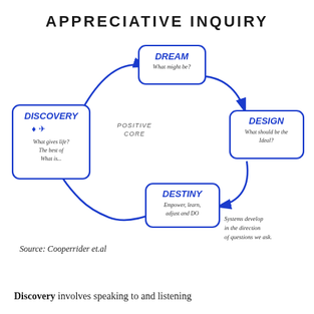[Figure (flowchart): Appreciative Inquiry cycle diagram showing four nodes: Dream (What might be?), Design (What should be the Ideal?), Destiny (Empower, learn, adjust and DO), Discovery (What gives life? The best of What is...), connected in a cycle with arrows, center labeled 'Positive Core', note: 'Systems develop in the direction of questions we ask']
Source: Cooperrider et.al
Discovery involves speaking to and listening